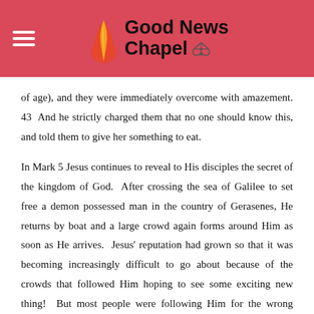Good News Chapel
of age), and they were immediately overcome with amazement. 43 And he strictly charged them that no one should know this, and told them to give her something to eat.
In Mark 5 Jesus continues to reveal to His disciples the secret of the kingdom of God. After crossing the sea of Galilee to set free a demon possessed man in the country of Gerasenes, He returns by boat and a large crowd again forms around Him as soon as He arrives. Jesus' reputation had grown so that it was becoming increasingly difficult to go about because of the crowds that followed Him hoping to see some exciting new thing! But most people were following Him for the wrong reasons. But the disciples had